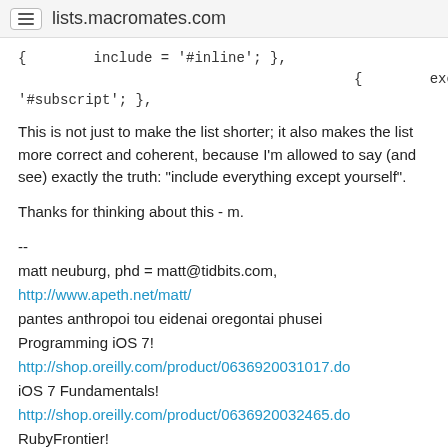lists.macromates.com
{        include = '#inline'; },
                                              {        exclude = '#subscript'; },
This is not just to make the list shorter; it also makes the list more correct and coherent, because I'm allowed to say (and see) exactly the truth: "include everything except yourself".
Thanks for thinking about this - m.
--
matt neuburg, phd = matt@tidbits.com,
http://www.apeth.net/matt/
pantes anthropoi tou eidenai oregontai phusei
Programming iOS 7!
http://shop.oreilly.com/product/0636920031017.do
iOS 7 Fundamentals!
http://shop.oreilly.com/product/0636920032465.do
RubyFrontier!
http://www.apeth.com/RubyFrontierDocs/default.html